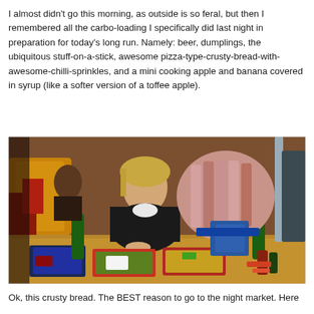I almost didn't go this morning, as outside is so feral, but then I remembered all the carbo-loading I specifically did last night in preparation for today's long run. Namely: beer, dumplings, the ubiquitous stuff-on-a-stick, awesome pizza-type-crusty-bread-with-awesome-chilli-sprinkles, and a mini cooking apple and banana covered in syrup (like a softer version of a toffee apple).
[Figure (photo): Woman in black jacket sitting at a table with food containers, green beer bottles, and a large colorful knitted/fabric object behind her in a restaurant setting.]
Ok, this crusty bread. The BEST reason to go to the night market. Here